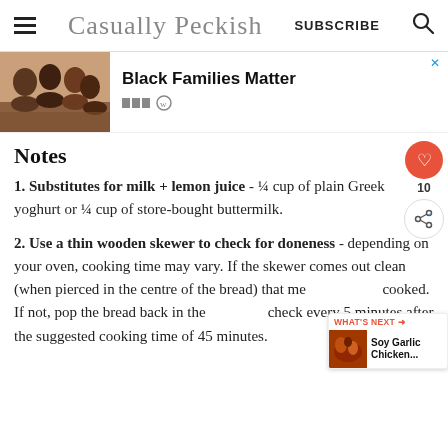Casually Peckish — SUBSCRIBE
[Figure (photo): Advertisement banner: Black Families Matter with photo of smiling Black family]
Notes
1. Substitutes for milk + lemon juice - ¼ cup of plain Greek yoghurt or ¼ cup of store-bought buttermilk.
2. Use a thin wooden skewer to check for doneness - depending on your oven, cooking time may vary. If the skewer comes out clean (when pierced in the centre of the bread) that means it's fully cooked. If not, pop the bread back in the oven and check every 5 minutes after the suggested cooking time of 45 minutes.
[Figure (other): What's Next widget: Soy Garlic Chicken...]
[Figure (other): Bottom advertisement: Protect Your Skin With BOGO 50% Off Select Sun Care - Walgreens]